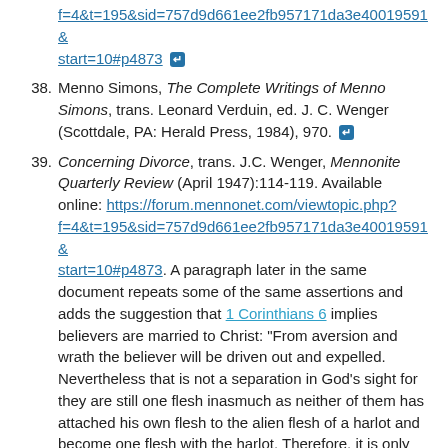f=4&t=195&sid=757d9d661ee2fb957171da3e40019591&start=10#p4873 [back arrow]
38. Menno Simons, The Complete Writings of Menno Simons, trans. Leonard Verduin, ed. J. C. Wenger (Scottdale, PA: Herald Press, 1984), 970. [back arrow]
39. Concerning Divorce, trans. J.C. Wenger, Mennonite Quarterly Review (April 1947):114-119. Available online: https://forum.mennonet.com/viewtopic.php?f=4&t=195&sid=757d9d661ee2fb957171da3e40019591&start=10#p4873. A paragraph later in the same document repeats some of the same assertions and adds the suggestion that 1 Corinthians 6 implies believers are married to Christ: "From aversion and wrath the believer will be driven out and expelled. Nevertheless that is not a separation in God's sight for they are still one flesh inasmuch as neither of them has attached his own flesh to the alien flesh of a harlot and become one flesh with the harlot. Therefore, it is only fornication which can effect a divorce. He who cleaveth to the Lord is one spirit with Him, 1 Corinthians 6, flesh of His flesh, and bone of His bone, Ephesians 5." [back arrow]